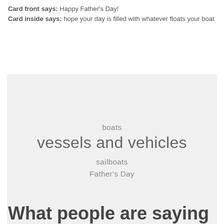Card front says: Happy Father's Day! Card inside says: hope your day is filled with whatever floats your boat
[Figure (other): A light gray card image placeholder displaying tags: boats, vessels and vehicles, sailboats, Father's Day]
What people are saying